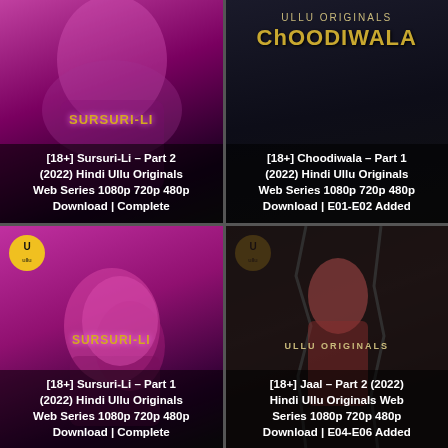[Figure (screenshot): Top-left cell: Purple/magenta background showing Sursuri-Li Part 2 web series thumbnail with text overlay]
[18+] Sursuri-Li – Part 2 (2022) Hindi Ullu Originals Web Series 1080p 720p 480p Download | Complete
[Figure (screenshot): Top-right cell: Dark background with Ullu Originals Choodiwala logo and Part 1 thumbnail]
[18+] Choodiwala – Part 1 (2022) Hindi Ullu Originals Web Series 1080p 720p 480p Download | E01-E02 Added
[Figure (screenshot): Bottom-left cell: Magenta profile of person for Sursuri-Li Part 1 thumbnail with Ullu logo]
[18+] Sursuri-Li – Part 1 (2022) Hindi Ullu Originals Web Series 1080p 720p 480p Download | Complete
[Figure (screenshot): Bottom-right cell: Dark photo of woman in red for Jaal Part 2 thumbnail with Ullu Originals logo]
[18+] Jaal – Part 2 (2022) Hindi Ullu Originals Web Series 1080p 720p 480p Download | E04-E06 Added